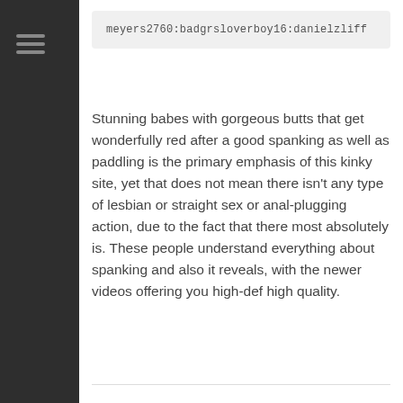meyers2760:badgrsloverboy16:danielzliff
Stunning babes with gorgeous butts that get wonderfully red after a good spanking as well as paddling is the primary emphasis of this kinky site, yet that does not mean there isn't any type of lesbian or straight sex or anal-plugging action, due to the fact that there most absolutely is. These people understand everything about spanking and also it reveals, with the newer videos offering you high-def high quality.